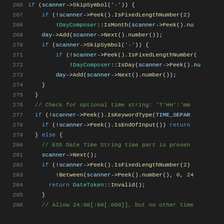[Figure (screenshot): Source code snippet showing C++ date/time parsing logic, lines 266-286, dark theme editor with syntax highlighting. Functions include SkipSymbol, Peek, IsFixedLengthNumber, IsMonth, IsDay, Add, Next, IsKeywordType, IsEndOfInput, IsFixed, Between, DateToken::Invalid.]